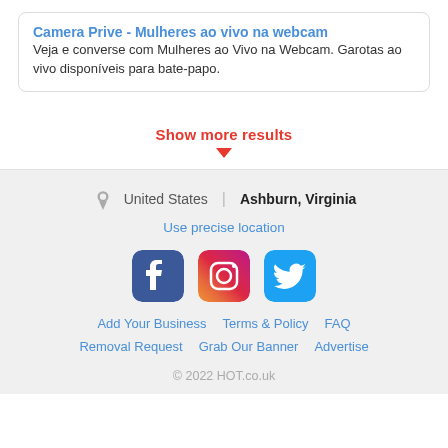Camera Prive - Mulheres ao vivo na webcam
Veja e converse com Mulheres ao Vivo na Webcam. Garotas ao vivo disponíveis para bate-papo.
Show more results
United States | Ashburn, Virginia
Use precise location
[Figure (logo): Social media icons: Facebook, Instagram, Twitter]
Add Your Business   Terms & Policy   FAQ
Removal Request   Grab Our Banner   Advertise
© 2022 HOT.co.uk